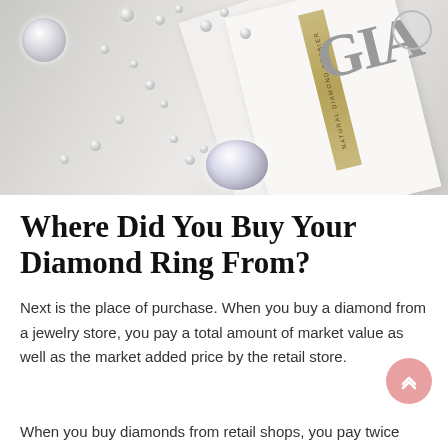[Figure (photo): Photo of loose diamonds scattered on a white surface next to GIA diamond dossier certification papers. A gold/tan colored strip label is visible on the certificate.]
Where Did You Buy Your Diamond Ring From?
Next is the place of purchase. When you buy a diamond from a jewelry store, you pay a total amount of market value as well as the market added price by the retail store.
When you buy diamonds from retail shops, you pay twice